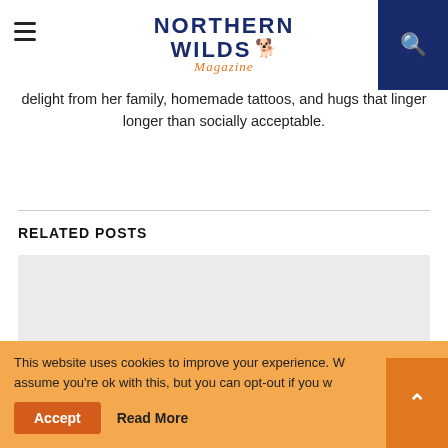Northern Wilds Magazine
delight from her family, homemade tattoos, and hugs that linger longer than socially acceptable.
RELATED POSTS
[Figure (photo): Related post image placeholder (light gray rectangle)]
This website uses cookies to improve your experience. We assume you're ok with this, but you can opt-out if you wish. Accept  Read More